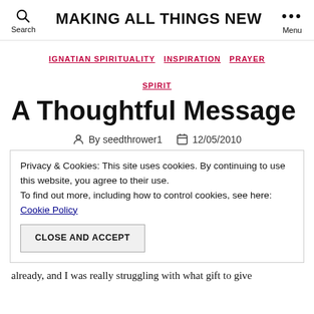MAKING ALL THINGS NEW
IGNATIAN SPIRITUALITY  INSPIRATION  PRAYER  SPIRIT
A Thoughtful Message
By seedthrower1  12/05/2010
Privacy & Cookies: This site uses cookies. By continuing to use this website, you agree to their use. To find out more, including how to control cookies, see here: Cookie Policy
CLOSE AND ACCEPT
already, and I was really struggling with what gift to give